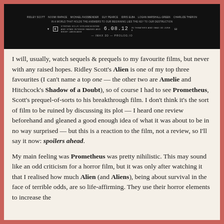[Figure (screenshot): A dark movie title card / promotional image for Prometheus (2012) showing rating R, release date 6.08.12, and IMAX 3D information against a black background]
I will, usually, watch sequels & prequels to my favourite films, but never with any raised hopes. Ridley Scott's Alien is one of my top three favourites (I can't name a top one — the other two are Amelie and Hitchcock's Shadow of a Doubt), so of course I had to see Prometheus, Scott's prequel-of-sorts to his breakthrough film. I don't think it's the sort of film to be ruined by discussing its plot — I heard one review beforehand and gleaned a good enough idea of what it was about to be in no way surprised — but this is a reaction to the film, not a review, so I'll say it now: spoilers ahead.
My main feeling was Prometheus was pretty nihilistic. This may sound like an odd criticism for a horror film, but it was only after watching it that I realised how much Alien (and Aliens), being about survival in the face of terrible odds, are so life-affirming. They use their horror elements to increase the